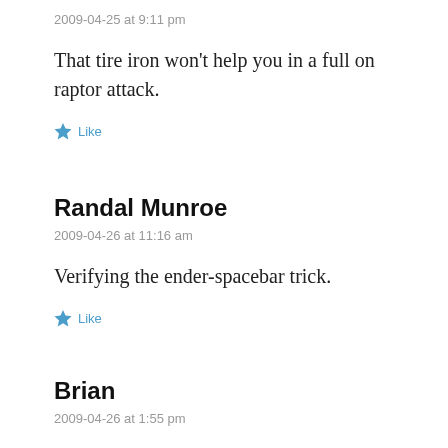2009-04-25 at 9:11 pm
That tire iron won’t help you in a full on raptor attack.
★ Like
Randal Munroe
2009-04-26 at 11:16 am
Verifying the ender-spacebar trick.
★ Like
Brian
2009-04-26 at 1:55 pm